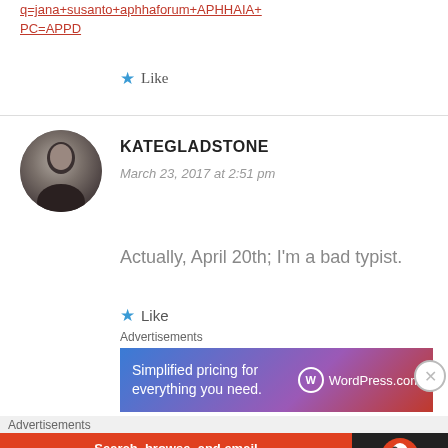q=jana+susanto+aphhaforum+APHHAIA+PC=APPD (link, red)
★ Like
[Figure (photo): Circular avatar photo of a person, dark silhouette style]
KATEGLADSTONE
March 23, 2017 at 2:51 pm
Actually, April 20th; I'm a bad typist.
★ Like
Advertisements
[Figure (screenshot): WordPress.com advertisement banner: 'Simplified pricing for everything you need.' with WordPress.com logo]
Advertisements
[Figure (screenshot): DuckDuckGo advertisement banner: 'Search, browse, and email with more privacy. All in One Free App']